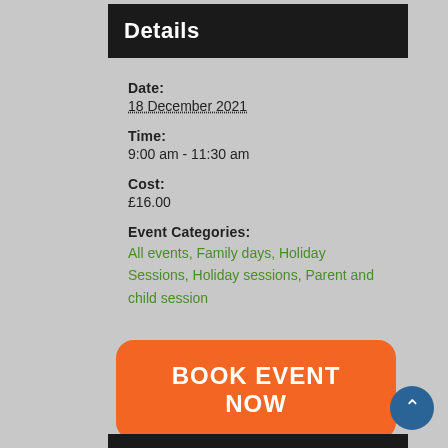Details
Date:
18 December 2021
Time:
9:00 am - 11:30 am
Cost:
£16.00
Event Categories:
All events, Family days, Holiday Sessions, Holiday sessions, Parent and child session
BOOK EVENT NOW